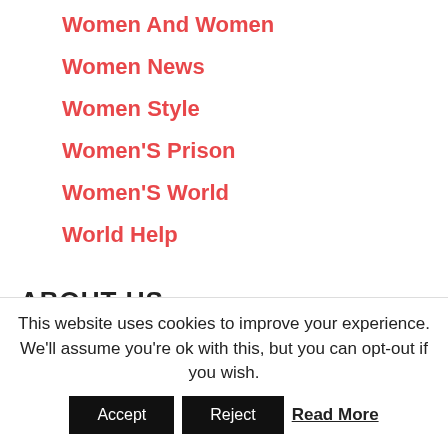Women And Women
Women News
Women Style
Women'S Prison
Women'S World
World Help
ABOUT US
Contact Us!
This website uses cookies to improve your experience. We'll assume you're ok with this, but you can opt-out if you wish.
Accept  Reject  Read More